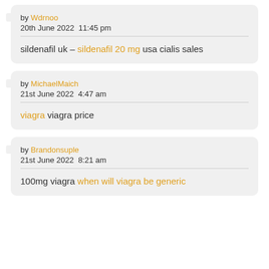by Wdrnoo
20th June 2022  11:45 pm
sildenafil uk – sildenafil 20 mg usa cialis sales
by MichaelMaich
21st June 2022  4:47 am
viagra viagra price
by Brandonsuple
21st June 2022  8:21 am
100mg viagra when will viagra be generic